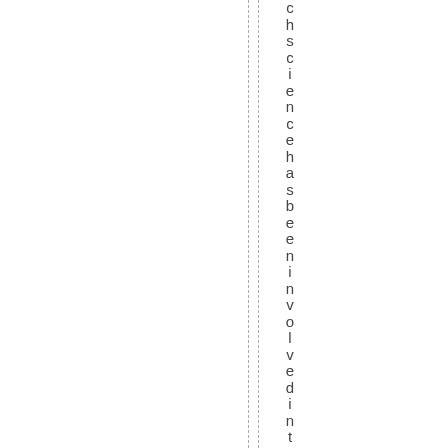chscience has been involved in thew